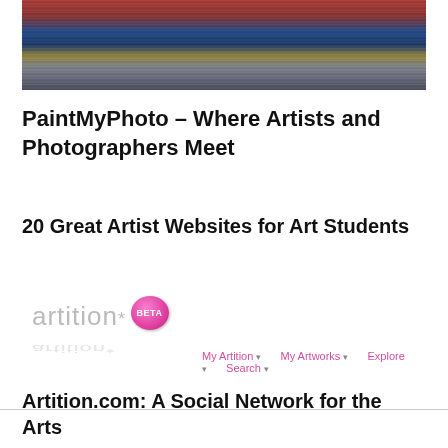[Figure (photo): Abstract water reflection photo showing rippled reflections of colorful boats or structures — red, blue, yellow — on water surface]
PaintMyPhoto – Where Artists and Photographers Meet
20 Great Artist Websites for Art Students
[Figure (screenshot): Artition.com website interface screenshot showing the Artition BETA logo with navigation menu items: My Artition, My Artworks, Explore, Search]
Artition.com: A Social Network for the Arts